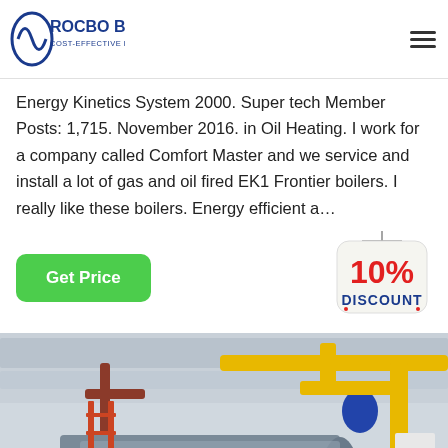ROCBO BOILER — COST-EFFECTIVE BOILER SUPPLIER
Energy Kinetics System 2000. Super tech Member Posts: 1,715. November 2016. in Oil Heating. I work for a company called Comfort Master and we service and install a lot of gas and oil fired EK1 Frontier boilers. I really like these boilers. Energy efficient a…
[Figure (other): 10% DISCOUNT badge graphic]
[Figure (photo): Industrial boiler room with a large horizontal gas-fired boiler, yellow gas pipes, red pipes, and insulated ceiling in a white-walled facility.]